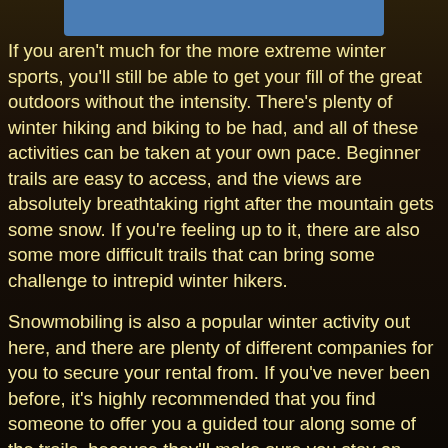[Figure (other): Blue header bar at top center of page, partial]
If you aren't much for the more extreme winter sports, you'll still be able to get your fill of the great outdoors without the intensity. There's plenty of winter hiking and biking to be had, and all of these activities can be taken at your own pace. Beginner trails are easy to access, and the views are absolutely breathtaking right after the mountain gets some snow. If you're feeling up to it, there are also some more difficult trails that can bring some challenge to intrepid winter hikers.
Snowmobiling is also a popular winter activity out here, and there are plenty of different companies for you to secure your rental from. If you've never been before, it's highly recommended that you find someone to offer you a guided tour along some of the trails, because they'll make sure you stay on safe paths while also getting some of the best views of the area.
There's plenty more worth mentioning, too. Things like ice skating, sledding, tubing, cross country skiing, and more are available and have great spots for those who